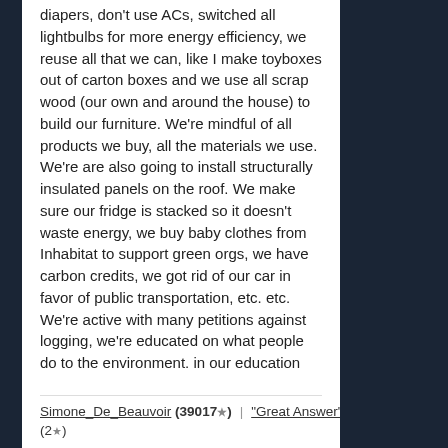diapers, don't use ACs, switched all lightbulbs for more energy efficiency, we reuse all that we can, like I make toyboxes out of carton boxes and we use all scrap wood (our own and around the house) to build our furniture. We're mindful of all products we buy, all the materials we use. We're are also going to install structurally insulated panels on the roof. We make sure our fridge is stacked so it doesn't waste energy, we buy baby clothes from Inhabitat to support green orgs, we have carbon credits, we got rid of our car in favor of public transportation, etc. etc. We're active with many petitions against logging, we're educated on what people do to the environment, in our education and in our experience. I have taken environmental courses, have applied to jobs that have a lot to do with saving the environment. I think there is a lot more we can be doing and we teach our kids all we know. Oh and right now I'm working on figuring out a non toxic floor cleaner solution.
Simone_De_Beauvoir (39017★) | "Great Answer"
(2★)